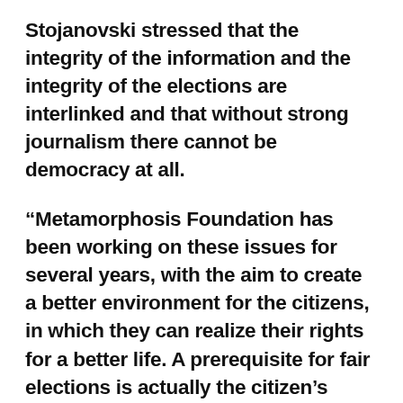Stojanovski stressed that the integrity of the information and the integrity of the elections are interlinked and that without strong journalism there cannot be democracy at all.
“Metamorphosis Foundation has been working on these issues for several years, with the aim to create a better environment for the citizens, in which they can realize their rights for a better life. A prerequisite for fair elections is actually the citizen’s ability to be informed and to make decisions on the basis of true information. And this is the antipode to spreading disinformation or creating a polarized society, where objective evidence isn’t relevant, but the information serves as a